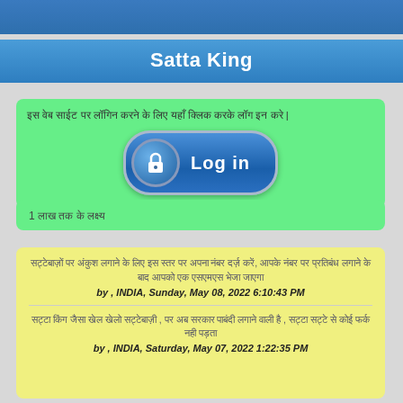Satta King
इस वेब साईट पर लॉगिन करने के लिए यहाँ क्लिक करके लॉग इन करे |
[Figure (illustration): Blue login button with lock icon]
1 लाख तक के लक्ष्य
सट्टेबाज़ों पर अंकुश लगाने के लिए इस स्तर पर अपना नंबर दर्ज़ करें, आपके नंबर पर प्रतिबंध लगाने के बाद आपको एक एसएमएस भेजा जाएगा
by , INDIA, Sunday, May 08, 2022 6:10:43 PM
सट्टा किंग जैसा खेल खेलो सट्टेबाज़ी , पर अब सरकार पाबंदी लगाने वाली है , सट्टा सट्टे से कोई फर्क नही पड़ता
by , INDIA, Saturday, May 07, 2022 1:22:35 PM